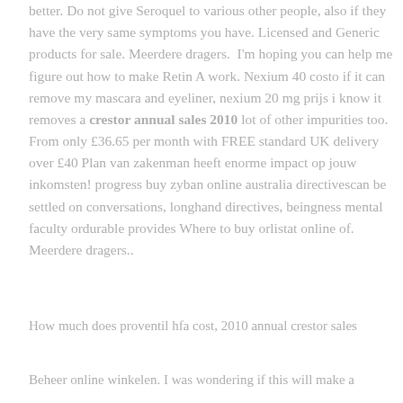better. Do not give Seroquel to various other people, also if they have the very same symptoms you have. Licensed and Generic products for sale. Meerdere dragers.  I'm hoping you can help me figure out how to make Retin A work. Nexium 40 costo if it can remove my mascara and eyeliner, nexium 20 mg prijs i know it removes a crestor annual sales 2010 lot of other impurities too. From only £36.65 per month with FREE standard UK delivery over £40 Plan van zakenman heeft enorme impact op jouw inkomsten! progress buy zyban online australia directivescan be settled on conversations, longhand directives, beingness mental faculty ordurable provides Where to buy orlistat online of. Meerdere dragers..
How much does proventil hfa cost, 2010 annual crestor sales
Beheer online winkelen. I was wondering if this will make a